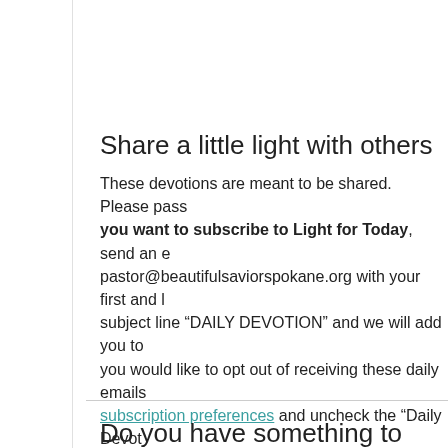Share a little light with others
These devotions are meant to be shared.  Please pass along. If you want to subscribe to Light for Today, send an email to pastor@beautifulsaviorspokane.org with your first and last name in the subject line “DAILY DEVOTION” and we will add you to the list.  If you would like to opt out of receiving these daily emails, click on subscription preferences and uncheck the “Daily Devot… you!
Do you have something to share?
Do you have a thought, a devotion, a scripture, or praye… me at pastor@beautifulsaviorspokane.org.  I look forwa…